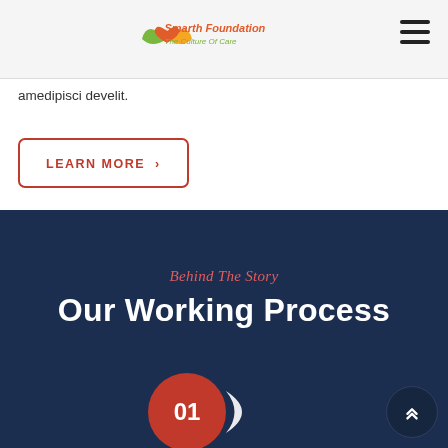Smarth Foundation – The Culture Of Care
amedipisci develit.
LEARN MORE ›
Behind The Story
Our Working Process
[Figure (infographic): Red circle with number 01 and a white half-moon shape beside it, representing step 1 of the working process]